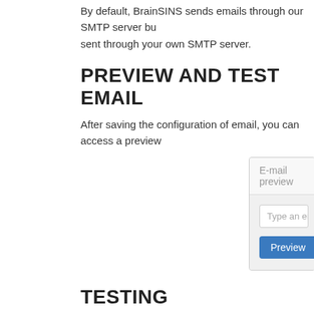By default, BrainSINS sends emails through our SMTP server bu sent through your own SMTP server.
PREVIEW AND TEST EMAIL
After saving the configuration of email, you can access a preview
[Figure (screenshot): E-mail preview UI panel with a text input labeled 'Type an email' and a blue 'Preview' button]
TESTING
There is a possibility of including an email where abandoned ma shipments before sending then to the customers.